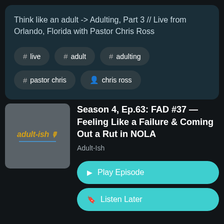Think like an adult -> Adulting, Part 3 // Live from Orlando, Florida with Pastor Chris Ross
# live
# adult
# adulting
# pastor chris
person chris ross
[Figure (logo): adult-ish podcast thumbnail logo with golden text and microphone icon on grey background]
Season 4, Ep.63: FAD #37 — Feeling Like a Failure & Coming Out a Rut in NOLA
Adult-Ish
Play Episode
Listen Later